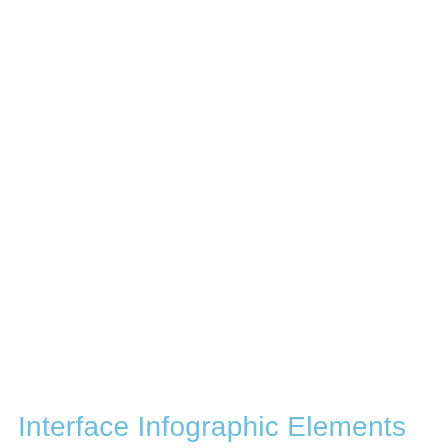Interface Infographic Elements